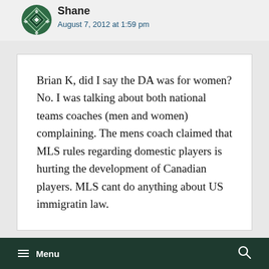Shane
August 7, 2012 at 1:59 pm
Brian K, did I say the DA was for women? No. I was talking about both national teams coaches (men and women) complaining. The mens coach claimed that MLS rules regarding domestic players is hurting the development of Canadian players. MLS cant do anything about US immigratin law.
Menu